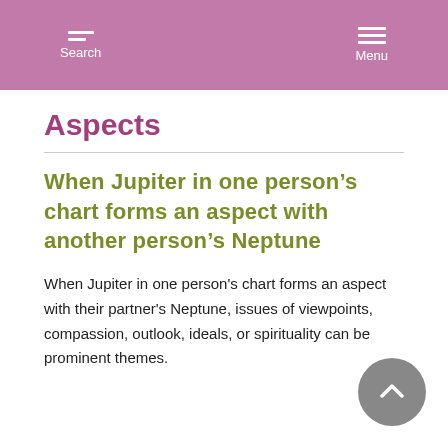Search  Menu
Aspects
When Jupiter in one person’s chart forms an aspect with another person’s Neptune
When Jupiter in one person's chart forms an aspect with their partner's Neptune, issues of viewpoints, compassion, outlook, ideals, or spirituality can be prominent themes.